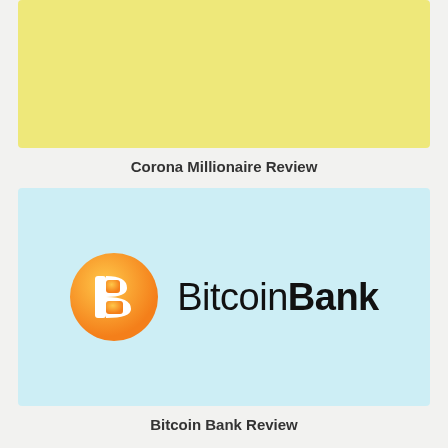[Figure (illustration): Yellow/light green rectangular banner placeholder image]
Corona Millionaire Review
[Figure (logo): Bitcoin Bank logo: orange circle with white B letter icon on the left, and 'BitcoinBank' text on the right in dark color, displayed on a light blue background]
Bitcoin Bank Review